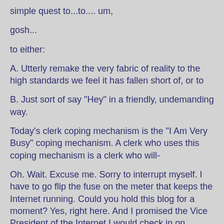simple quest to...to.... um,
gosh...
to either:
A. Utterly remake the very fabric of reality to the high standards we feel it has fallen short of, or to
B. Just sort of say "Hey" in a friendly, undemanding way.
Today's clerk coping mechanism is the "I Am Very Busy" coping mechanism. A clerk who uses this coping mechanism is a clerk who will-
Oh. Wait. Excuse me. Sorry to interrupt myself. I have to go flip the fuse on the meter that keeps the Internet running. Could you hold this blog for a moment? Yes, right here. And I promised the Vice President of the Internet I would check in on Amazon, big site, very important. I'll be right back! Just, you could put down a few more blog sentences while I'm gone, or do nothing. I'll be right back.